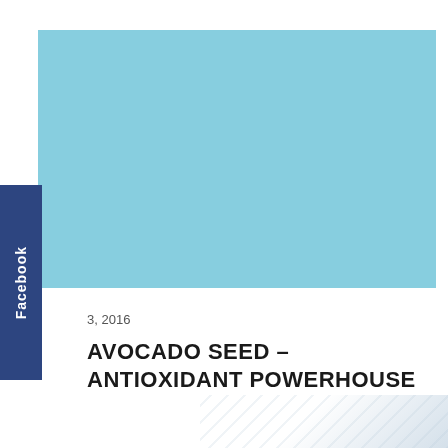[Figure (photo): Light blue rectangular hero image placeholder at top of page]
[Figure (illustration): Facebook social share tab on left side, dark navy blue with white vertical text 'Facebook']
3, 2016
AVOCADO SEED – ANTIOXIDANT POWERHOUSE
[Figure (photo): Partial bottom image with light gray and white diagonal texture, partially visible at bottom right]